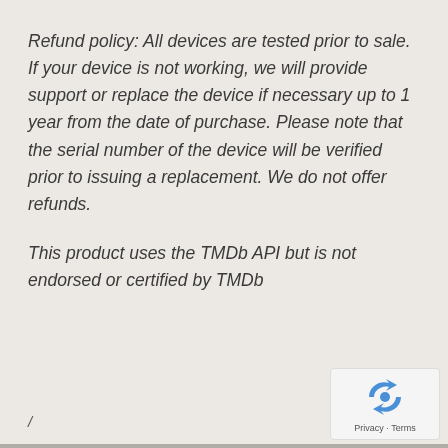Refund policy: All devices are tested prior to sale. If your device is not working, we will provide support or replace the device if necessary up to 1 year from the date of purchase. Please note that the serial number of the device will be verified prior to issuing a replacement. We do not offer refunds.
This product uses the TMDb API but is not endorsed or certified by TMDb
/